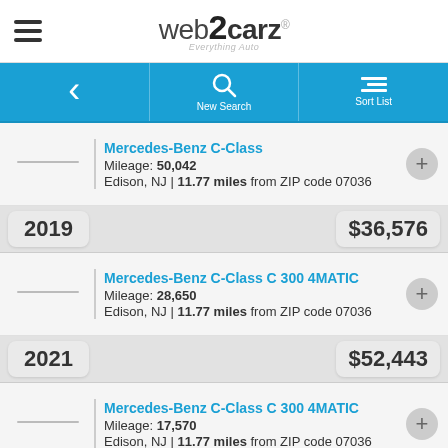web2carz — Everything Auto
Mercedes-Benz C-Class | Mileage: 50,042 | Edison, NJ | 11.77 miles from ZIP code 07036 | Year: 2019 | Price: $36,576
Mercedes-Benz C-Class C 300 4MATIC | Mileage: 28,650 | Edison, NJ | 11.77 miles from ZIP code 07036 | Year: 2021 | Price: $52,443
Mercedes-Benz C-Class C 300 4MATIC | Mileage: 17,570 | Edison, NJ | 11.77 miles from ZIP code 07036 | Year: 2020 | Price: $56,895
Mercedes-Benz C-Class AMG C 43 (partial)